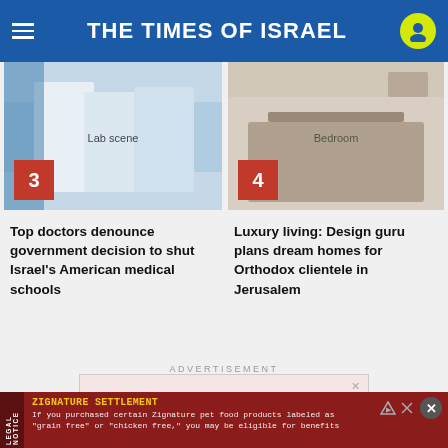THE TIMES OF ISRAEL
[Figure (photo): Scientists in white lab coats working in a laboratory with equipment - article #3]
[Figure (photo): Luxury bedroom interior with elegant decor, bed, curtains, chandelier - article #4]
Top doctors denounce government decision to shut Israel's American medical schools
Luxury living: Design guru plans dream homes for Orthodox clientele in Jerusalem
ADVERTISEMENT
[Figure (screenshot): Advertisement with pink background and text: Until there’s a vaccine for trolls, there’s us.]
ZIGNATURE SETTLEMENT
If you purchased certain Zignature pet food products labeled as “grain free” or “chicken free,” you may be eligible for benefits